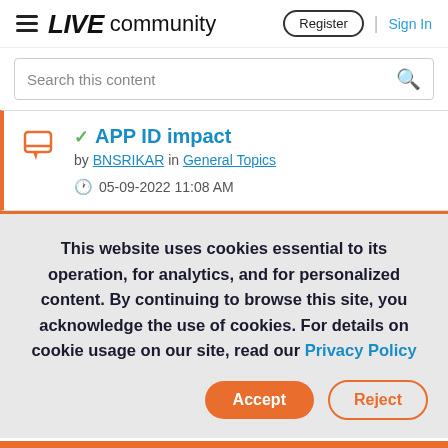LIVE community | Register | Sign In
Search this content
APP ID impact
by BNSRIKAR in General Topics
05-09-2022 11:08 AM
This website uses cookies essential to its operation, for analytics, and for personalized content. By continuing to browse this site, you acknowledge the use of cookies. For details on cookie usage on our site, read our Privacy Policy
Accept
Reject